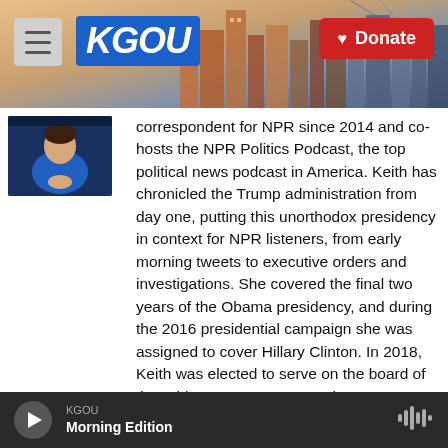KGOU — Donate
[Figure (photo): Thumbnail photo of a person in a blue top with hands clasped]
correspondent for NPR since 2014 and co-hosts the NPR Politics Podcast, the top political news podcast in America. Keith has chronicled the Trump administration from day one, putting this unorthodox presidency in context for NPR listeners, from early morning tweets to executive orders and investigations. She covered the final two years of the Obama presidency, and during the 2016 presidential campaign she was assigned to cover Hillary Clinton. In 2018, Keith was elected to serve on the board of the White House Correspondents' Association.
See stories by Tamara Keith
KGOU Morning Edition